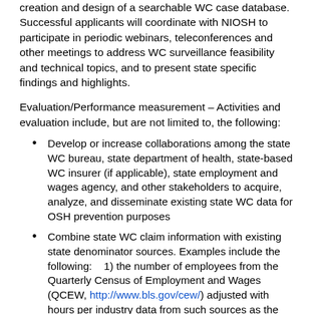creation and design of a searchable WC case database.  Successful applicants will coordinate with NIOSH to participate in periodic webinars, teleconferences and other meetings to address WC surveillance feasibility and technical topics, and to present state specific findings and highlights.
Evaluation/Performance measurement – Activities and evaluation include, but are not limited to, the following:
Develop or increase collaborations among the state WC bureau, state department of health, state-based WC insurer (if applicable), state employment and wages agency, and other stakeholders to acquire, analyze, and disseminate existing state WC data for OSH prevention purposes
Combine state WC claim information with existing state denominator sources. Examples include the following:   1) the number of employees from the Quarterly Census of Employment and Wages (QCEW, http://www.bls.gov/cew/) adjusted with hours per industry data from such sources as the Current Population Survey (CPS, http://www.census.gov/cps/), 2) American Community Survey (ACS, http://www.census.gov/acs/www/), and 3) data and Current